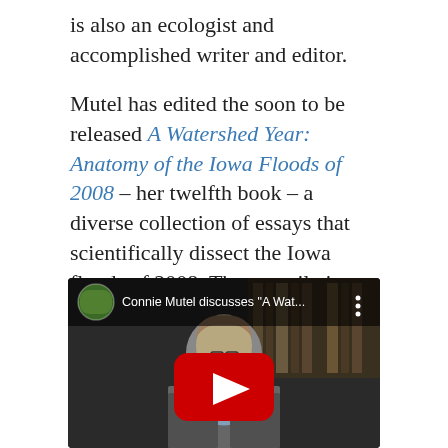is also an ecologist and accomplished writer and editor.
Mutel has edited the soon to be released A Watershed Year: Anatomy of the Iowa Floods of 2008 – her twelfth book – a diverse collection of essays that scientifically dissect the Iowa floods of 2008. The compilation includes works from many of Mutel's colleagues at IIHR.
[Figure (screenshot): YouTube video thumbnail showing Connie Mutel discussing 'A Wat...' with a play button overlay. The video shows a woman sitting at a desk with bookshelves in the background.]